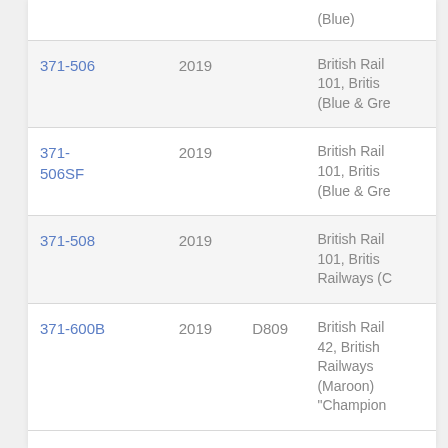| Code | Year | Ref | Description |
| --- | --- | --- | --- |
|  |  |  | (Blue) |
| 371-506 | 2019 |  | British Rail 101, British (Blue & Gre… |
| 371-506SF | 2019 |  | British Rail 101, British (Blue & Gre… |
| 371-508 | 2019 |  | British Rail 101, British Railways (C… |
| 371-600B | 2019 | D809 | British Rail 42, British Railways (Maroon) "Champion… |